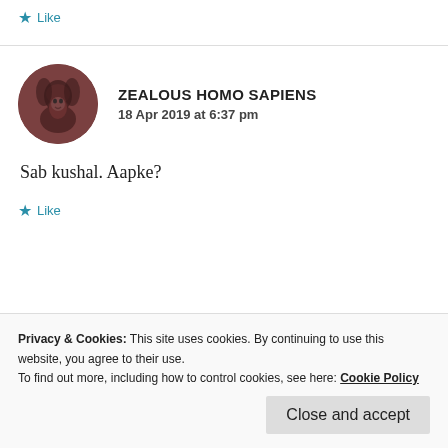★ Like
ZEALOUS HOMO SAPIENS
18 Apr 2019 at 6:37 pm
Sab kushal. Aapke?
★ Like
Privacy & Cookies: This site uses cookies. By continuing to use this website, you agree to their use.
To find out more, including how to control cookies, see here: Cookie Policy
Close and accept